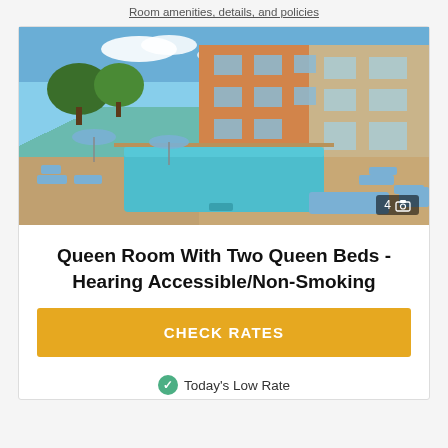Room amenities, details, and policies
[Figure (photo): Hotel outdoor pool area with lounge chairs and umbrellas, orange and stone building in background, blue sky with clouds]
Queen Room With Two Queen Beds - Hearing Accessible/Non-Smoking
CHECK RATES
Today's Low Rate